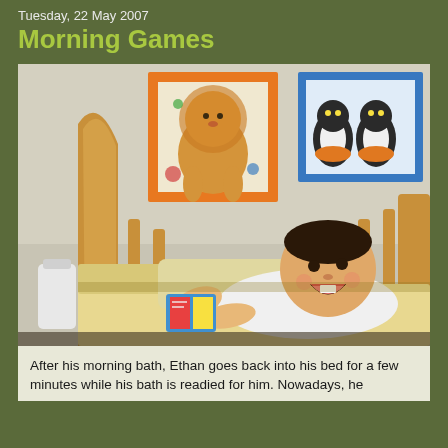Tuesday, 22 May 2007
Morning Games
[Figure (photo): A smiling baby lying on his stomach in a wooden crib, holding a colorful toy book. Two framed animal pictures hang on the wall behind — one with a lion on an orange background, one with penguins on a blue background.]
After his morning bath, Ethan goes back into his bed for a few minutes while his bath is readied for him. Nowadays, he